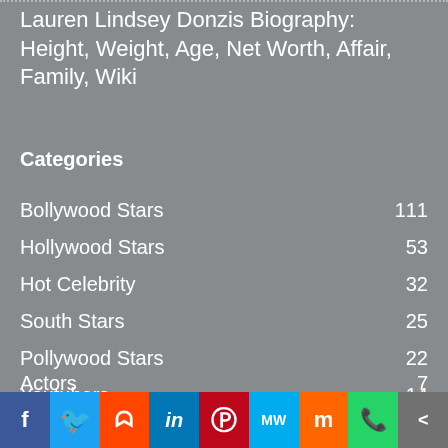Lauren Lindsey Donzis Biography: Height, Weight, Age, Net Worth, Affair, Family, Wiki
Categories
Bollywood Stars 111
Hollywood Stars 53
Hot Celebrity 32
South Stars 25
Pollywood Stars 22
Youtubers 14
Instagram Celebrity 7
WWE Stars 5